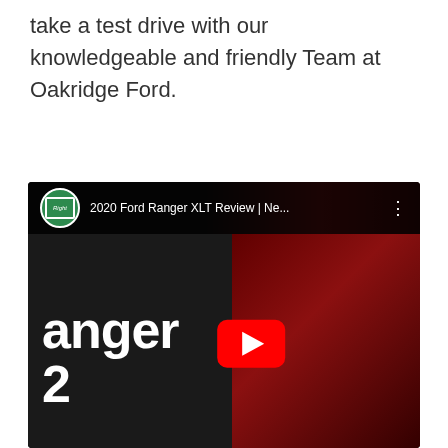take a test drive with our knowledgeable and friendly Team at Oakridge Ford.
[Figure (screenshot): YouTube embedded video thumbnail showing a 2020 Ford Ranger XLT Review. The video has a dark background with a red-tinted right side showing a car interior. Large white text 'anger' and '2' visible on the left. A red YouTube play button is centered. The video top bar shows a green channel avatar and title '2020 Ford Ranger XLT Review | Ne...']